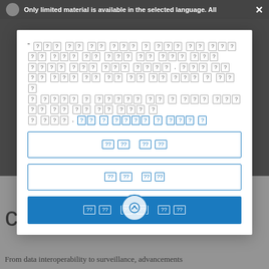Only limited material is available in the selected language. All
[Figure (screenshot): A modal dialog box containing garbled text (question mark boxes representing unavailable language content), two input fields with garbled placeholder text, and a blue submit button with garbled text, all shown over a medical/clinical website page.]
clinical workflows
From data interoperability to surveillance, advancements